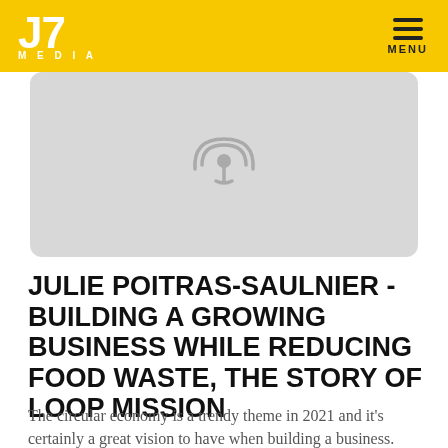J7 MEDIA — MENU
[Figure (illustration): Rounded rectangle placeholder image with a podcast microphone/broadcast icon in gray on a light gray background]
JULIE POITRAS-SAULNIER - BUILDING A GROWING BUSINESS WHILE REDUCING FOOD WASTE, THE STORY OF LOOP MISSION
The circular economy is a trendy theme in 2021 and it's certainly a great vision to have when building a business.